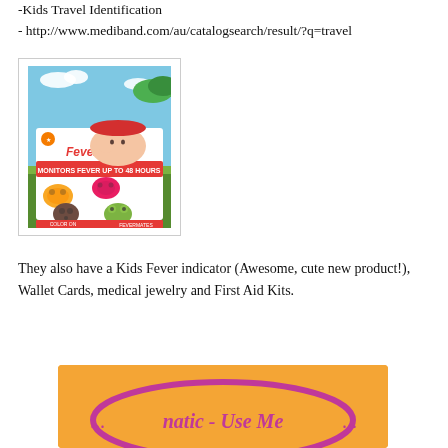-Kids Travel Identification
- http://www.mediband.com/au/catalogsearch/result/?q=travel
[Figure (photo): FeverMates product packaging showing colorful animal-shaped fever indicator stickers for kids, with a child's face and cartoon animals on the front of the box.]
They also have a Kids Fever indicator (Awesome, cute new product!), Wallet Cards, medical jewelry and First Aid Kits.
[Figure (photo): Partial view of a product with orange background and pink/purple text that reads '...natic - Use Me...' or similar cursive text, partially cut off at bottom of page.]